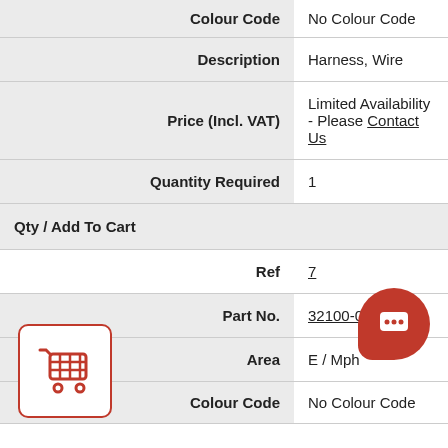| Colour Code | No Colour Code |
| Description | Harness, Wire |
| Price (Incl. VAT) | Limited Availability - Please Contact Us |
| Quantity Required | 1 |
| Qty / Add To Cart |  |
| Ref | 7 |
| Part No. | 32100-087-741 |
| Area | E / Mph |
| Colour Code | No Colour Code |